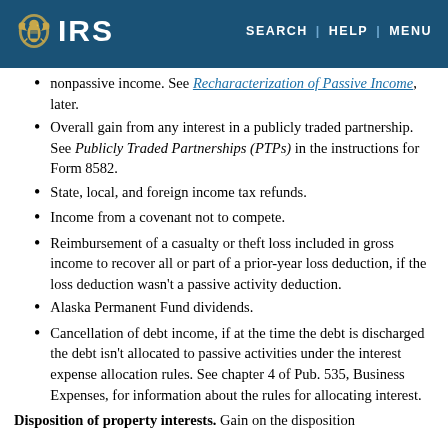IRS | SEARCH | HELP | MENU
nonpassive income. See Recharacterization of Passive Income, later.
Overall gain from any interest in a publicly traded partnership. See Publicly Traded Partnerships (PTPs) in the instructions for Form 8582.
State, local, and foreign income tax refunds.
Income from a covenant not to compete.
Reimbursement of a casualty or theft loss included in gross income to recover all or part of a prior-year loss deduction, if the loss deduction wasn't a passive activity deduction.
Alaska Permanent Fund dividends.
Cancellation of debt income, if at the time the debt is discharged the debt isn't allocated to passive activities under the interest expense allocation rules. See chapter 4 of Pub. 535, Business Expenses, for information about the rules for allocating interest.
Disposition of property interests. Gain on the disposition